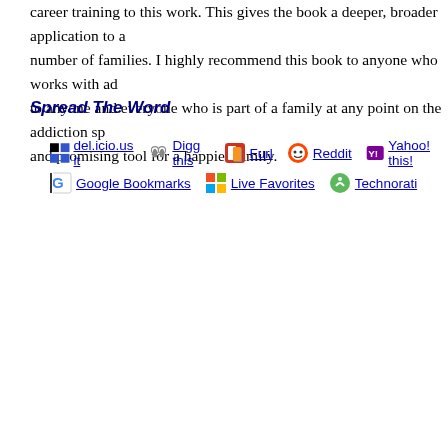career training to this work. This gives the book a deeper, broader application to a number of families. I highly recommend this book to anyone who works with addicts, to anyone and everyone who is part of a family at any point on the addiction spectrum and promising tool for a happier family.
Spread The Word
[Figure (other): Social bookmarking icons and links: del.icio.us it, Digg this, Furl, Reddit, Yahoo! this!, StumbleUpon (partial), Google Bookmarks, Live Favorites, Technorati]